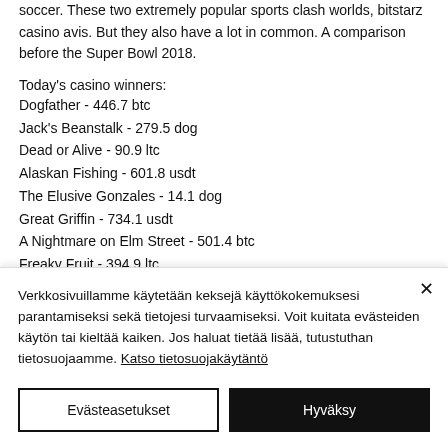soccer. These two extremely popular sports clash worlds, bitstarz casino avis. But they also have a lot in common. A comparison before the Super Bowl 2018.
Today's casino winners:
Dogfather - 446.7 btc
Jack's Beanstalk - 279.5 dog
Dead or Alive - 90.9 ltc
Alaskan Fishing - 601.8 usdt
The Elusive Gonzales - 14.1 dog
Great Griffin - 734.1 usdt
A Nightmare on Elm Street - 501.4 btc
Freaky Fruit - 394.9 ltc
Verkkosivuillamme käytetään keksejä käyttökokemuksesi parantamiseksi sekä tietojesi turvaamiseksi. Voit kuitata evästeiden käytön tai kieltää kaiken. Jos haluat tietää lisää, tutustuthan tietosuojaamme. Katso tietosuojakäytäntö
Evästeasetukset
Hyväksy